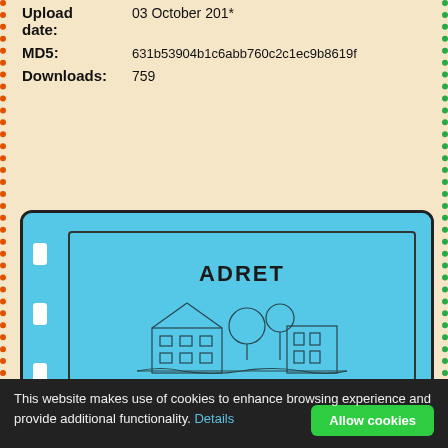Upload date:
03 October 201*
MD5: 631b53904b1c6abb760c2c1ec9b8619f
Downloads: 759
[Figure (photo): Blue-tinted scan of an ADRET equipment manual cover page showing a building sketch and a rack-mounted electronic equipment unit.]
This website makes use of cookies to enhance browsing experience and provide additional functionality. Details
Allow cookies